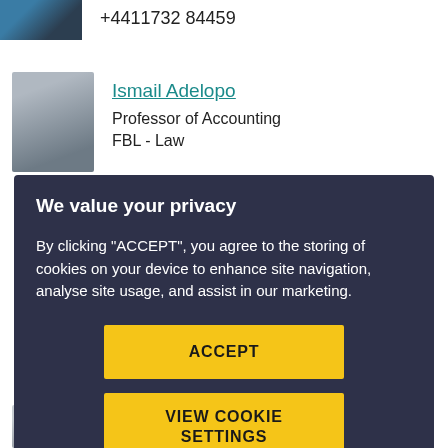+4411732 84459
Ismail Adelopo
Professor of Accounting
FBL - Law
We value your privacy
By clicking "ACCEPT", you agree to the storing of cookies on your device to enhance site navigation, analyse site usage, and assist in our marketing.
ACCEPT
VIEW COOKIE SETTINGS
James Whitbread